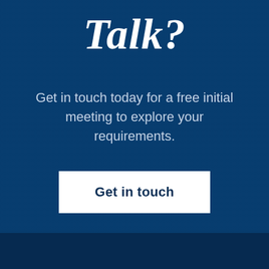Talk?
Get in touch today for a free initial meeting to explore your requirements.
Get in touch